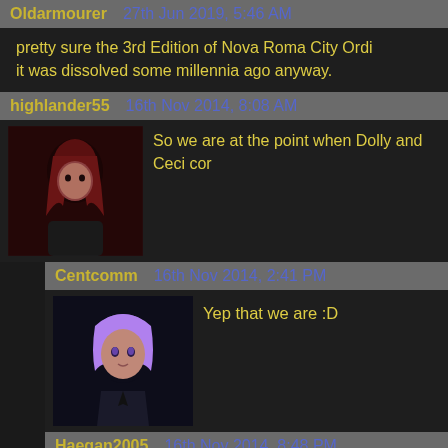Oldarmourer   27th Jun 2019, 5:46 AM
pretty sure the 3rd Edition of Nova Roma City Ordi... it was dissolved some millennia ago anyway.
highlander55   16th Nov 2014, 8:08 AM
So we are at the point when Dolly and Ceci cor...
Centcomm   16th Nov 2014, 2:41 PM
Yep that we are :D
Haegan2005   16th Nov 2014, 8:48 PM
Lol! I can work with that!
There are so many little story arcs going t... (facepalms)
antrik   11th Oct 2016, 4:19 PM
Oh my, they do have a busy day here, don't they?